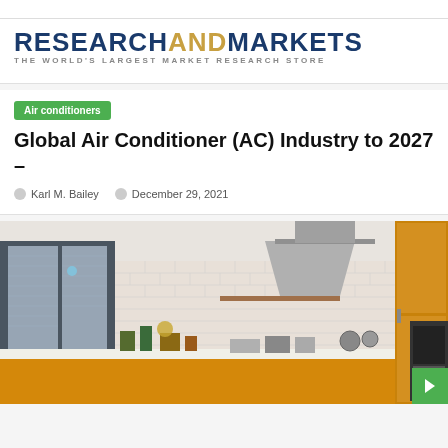[Figure (logo): ResearchAndMarkets logo with tagline 'THE WORLD'S LARGEST MARKET RESEARCH STORE']
Air conditioners
Global Air Conditioner (AC) Industry to 2027 –
Karl M. Bailey    December 29, 2021
[Figure (photo): Modern kitchen interior with yellow cabinets, brick wall backsplash, large windows with blinds, range hood, and various kitchen appliances and plants on the countertop]